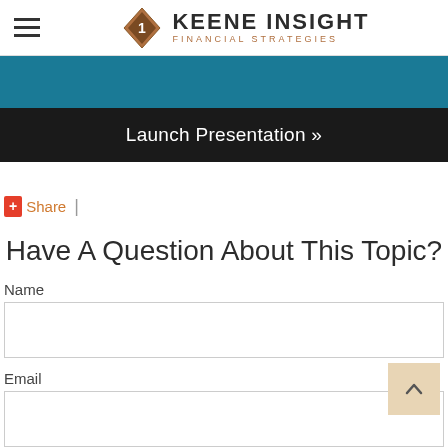Keene Insight Financial Strategies
Launch Presentation »
Share |
Have A Question About This Topic?
Name
Email